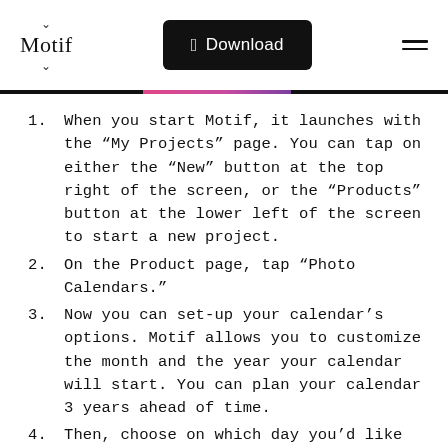Motif | Download | [menu]
When you start Motif, it launches with the “My Projects” page. You can tap on either the “New” button at the top right of the screen, or the “Products” button at the lower left of the screen to start a new project.
On the Product page, tap “Photo Calendars.”
Now you can set-up your calendar’s options. Motif allows you to customize the month and the year your calendar will start. You can plan your calendar 3 years ahead of time.
Then, choose on which day you’d like to start the week in your calendar.
Next, pick the length of your calendar. It can